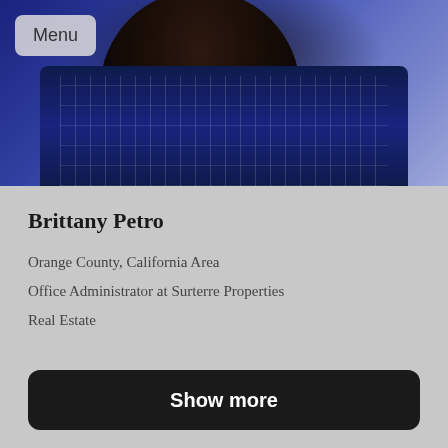[Figure (photo): Profile photo of Brittany Petro wearing a dark navy embroidered dress/top with white floral patterns and fringe trim, with long dark hair, photographed from behind/side]
Brittany Petro
Orange County, California Area
Office Administrator at Surterre Properties
Real Estate
Show more